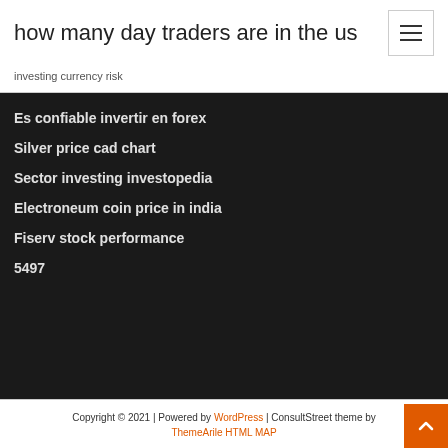how many day traders are in the us
investing currency risk
Es confiable invertir en forex
Silver price cad chart
Sector investing investopedia
Electroneum coin price in india
Fiserv stock performance
5497
Copyright © 2021 | Powered by WordPress | ConsultStreet theme by ThemeArile HTML MAP